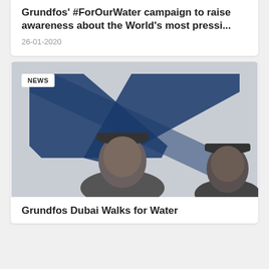Grundfos' #ForOurWater campaign to raise awareness about the World's most pressi...
26-01-2020
[Figure (photo): Two people wearing black caps standing in front of a large Grundfos logo on a light grey background. A NEWS badge overlay appears in the top left corner.]
Grundfos Dubai Walks for Water